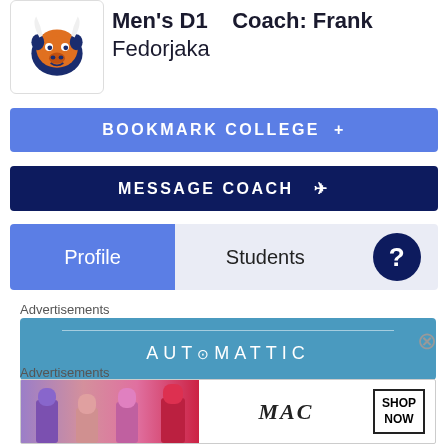[Figure (logo): Bison mascot logo with orange and navy blue colors]
Men's D1   Coach: Frank Fedorjaka
BOOKMARK COLLEGE +
MESSAGE COACH
Profile
Students
?
Advertisements
[Figure (screenshot): Automattic advertisement banner in blue]
Advertisements
[Figure (screenshot): MAC cosmetics advertisement with lipsticks and SHOP NOW button]